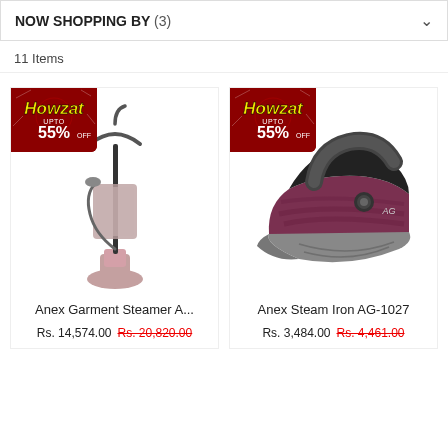NOW SHOPPING BY (3)
11 Items
[Figure (photo): Anex Garment Steamer product photo with Howzat 55% off badge]
Anex Garment Steamer A...
Rs. 14,574.00   Rs. 20,820.00
[Figure (photo): Anex Steam Iron AG-1027 product photo with Howzat 55% off badge]
Anex Steam Iron AG-1027
Rs. 3,484.00   Rs. 4,461.00